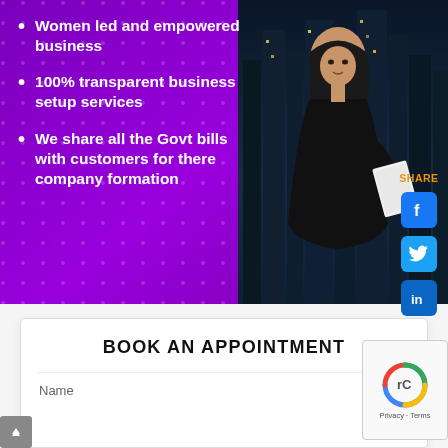[Figure (photo): Woman in black hijab and abaya holding documents, standing in front of city skyline at night, overlaid on purple background with bullet points about business services]
Women led and empowered business
100% transparent business setup services
We share all the Govt bills with customers for there company formation
SHARE
BOOK AN APPOINTMENT
Name